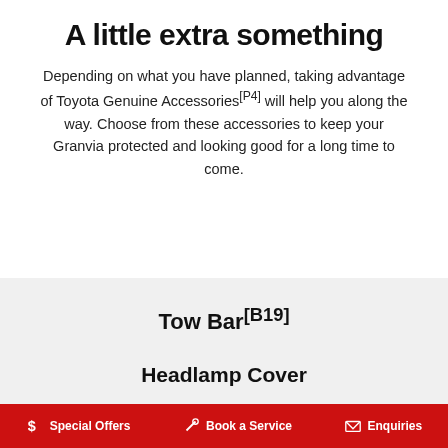A little extra something
Depending on what you have planned, taking advantage of Toyota Genuine Accessories[P4] will help you along the way. Choose from these accessories to keep your Granvia protected and looking good for a long time to come.
Tow Bar[B19]
Headlamp Cover
$ Special Offers   Book a Service   Enquiries